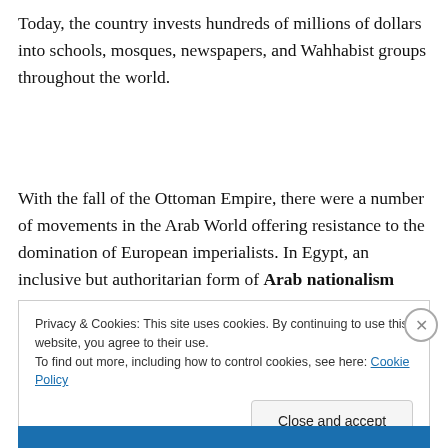Today, the country invests hundreds of millions of dollars into schools, mosques, newspapers, and Wahhabist groups throughout the world.
With the fall of the Ottoman Empire, there were a number of movements in the Arab World offering resistance to the domination of European imperialists. In Egypt, an inclusive but authoritarian form of Arab nationalism grew in
Privacy & Cookies: This site uses cookies. By continuing to use this website, you agree to their use.
To find out more, including how to control cookies, see here: Cookie Policy
Close and accept